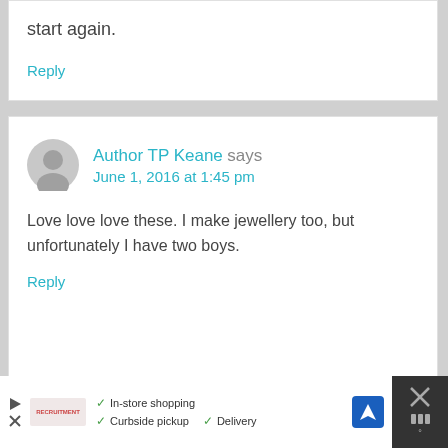start again.
Reply
Author TP Keane says
June 1, 2016 at 1:45 pm
Love love love these. I make jewellery too, but unfortunately I have two boys.
Reply
[Figure (screenshot): Ad banner at bottom showing In-store shopping, Curbside pickup, Delivery options with navigation icon]